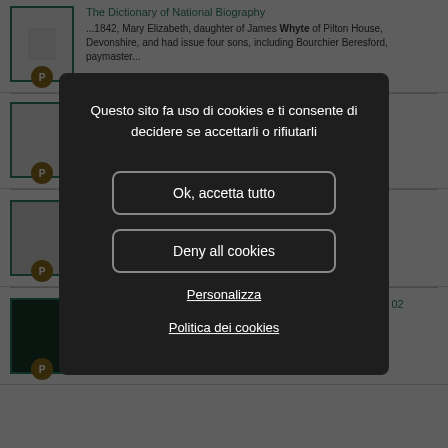The Dictionary of National Biography
...1842, Mary Elizabeth, daughter of James Whyte of Pilton House, Devonshire, and had issue four sons, including Bourchier Beresford, paymaster...
[Figure (screenshot): Cookie consent modal dialog overlay on a webpage showing search results. Modal contains Italian text: 'Questo sito fa uso di cookies e ti consente di decidere se accettarli o rifiutarli' with buttons 'Ok, accetta tutto', 'Deny all cookies', and links 'Personalizza' and 'Politica dei cookies'.]
Historical encyclopedia of Illinois and Biographical memoirs, v. 02
...September 26, 1894, to Miss Marianna Whyte, who